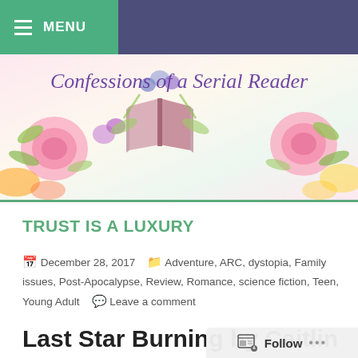MENU
[Figure (illustration): Confessions of a Serial Reader blog banner with watercolor flowers and an open book illustration]
TRUST IS A LUXURY
December 28, 2017 | Adventure, ARC, dystopia, Family issues, Post-Apocalypse, Review, Romance, science fiction, Teen, Young Adult | Leave a comment
Last Star Burning by Caitlin